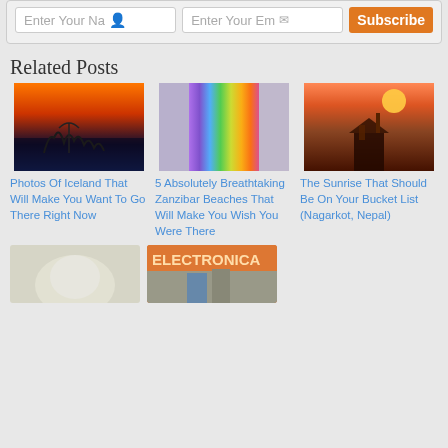[Figure (screenshot): Newsletter signup form with name field, email field, and orange Subscribe button]
Related Posts
[Figure (photo): Sunset over Viking ship sculpture in Iceland with orange and blue sky]
Photos Of Iceland That Will Make You Want To Go There Right Now
[Figure (photo): Rainbow colors blur on Zanzibar beach]
5 Absolutely Breathtaking Zanzibar Beaches That Will Make You Wish You Were There
[Figure (photo): Sunrise over temple in Nagarkot Nepal with orange sun in hazy sky]
The Sunrise That Should Be On Your Bucket List (Nagarkot, Nepal)
[Figure (photo): White animal photo partially visible]
[Figure (photo): ELECTRONICA sign on storefront]